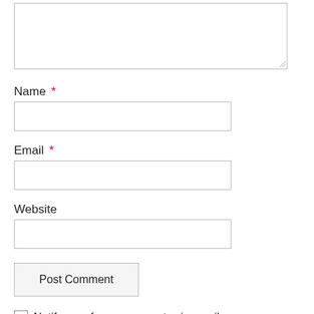[textarea]
Name *
[text input]
Email *
[text input]
Website
[text input]
Post Comment
Notify me of new comments via email.
Notify me of new posts via email.